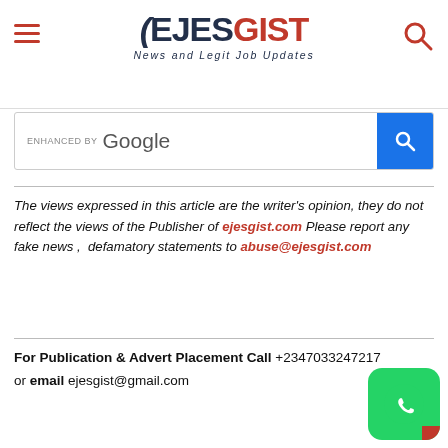EJESGIST - News and Legit Job Updates
[Figure (screenshot): Google enhanced search bar]
The views expressed in this article are the writer's opinion, they do not reflect the views of the Publisher of ejesgist.com Please report any fake news ,  defamatory statements to abuse@ejesgist.com
For Publication & Advert Placement Call +2347033247217 or email ejesgist@gmail.com
[Figure (logo): WhatsApp icon button at bottom right]